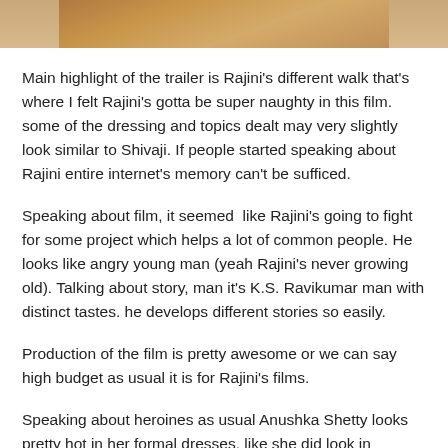[Figure (photo): Partial photo of a person at the top of the page]
Main highlight of the trailer is Rajini's different walk that's where I felt Rajini's gotta be super naughty in this film. some of the dressing and topics dealt may very slightly look similar to Shivaji. If people started speaking about Rajini entire internet's memory can't be sufficed.
Speaking about film, it seemed  like Rajini's going to fight for some project which helps a lot of common people. He looks like angry young man (yeah Rajini's never growing old). Talking about story, man it's K.S. Ravikumar man with distinct tastes. he develops different stories so easily.
Production of the film is pretty awesome or we can say high budget as usual it is for Rajini's films.
Speaking about heroines as usual Anushka Shetty looks pretty hot in her formal dresses. like she did look in Singam film of Surya. And coming to Sonakshi Sinha she's also looking good with forest people costumes.